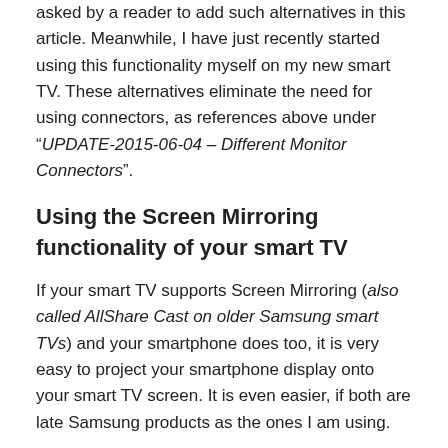asked by a reader to add such alternatives in this article. Meanwhile, I have just recently started using this functionality myself on my new smart TV. These alternatives eliminate the need for using connectors, as references above under “UPDATE-2015-06-04 – Different Monitor Connectors”.
Using the Screen Mirroring functionality of your smart TV
If your smart TV supports Screen Mirroring (also called AllShare Cast on older Samsung smart TVs) and your smartphone does too, it is very easy to project your smartphone display onto your smart TV screen. It is even easier, if both are late Samsung products as the ones I am using.